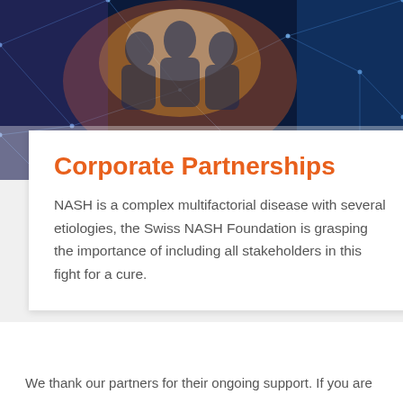[Figure (photo): Abstract background image showing silhouettes of people with a glowing network/connection overlay in blue and orange tones]
Corporate Partnerships
NASH is a complex multifactorial disease with several etiologies, the Swiss NASH Foundation is grasping the importance of including all stakeholders in this fight for a cure.
We thank our partners for their ongoing support. If you are